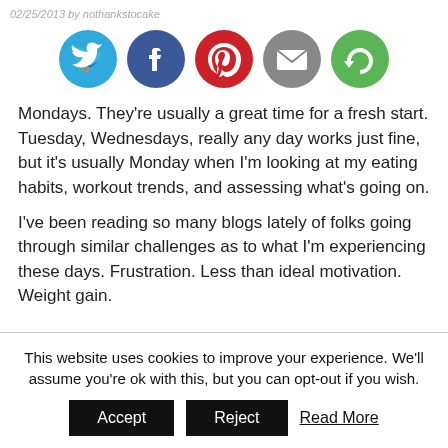02/25/2013 by nothankstocake
[Figure (infographic): Five social media sharing icon buttons in a row: Twitter (blue bird), Facebook (dark blue f), Pinterest (red P), Email (grey envelope), and a green circular arrow (subscribe/refresh) icon.]
Mondays.  They're usually a great time for a fresh start.  Tuesday, Wednesdays, really any day works just fine, but it's usually Monday when I'm looking at my eating habits, workout trends, and assessing what's going on.
I've been reading so many blogs lately of folks going through similar challenges as to what I'm experiencing these days.  Frustration.  Less than ideal motivation.  Weight gain.
This website uses cookies to improve your experience. We'll assume you're ok with this, but you can opt-out if you wish.
Accept  Reject  Read More